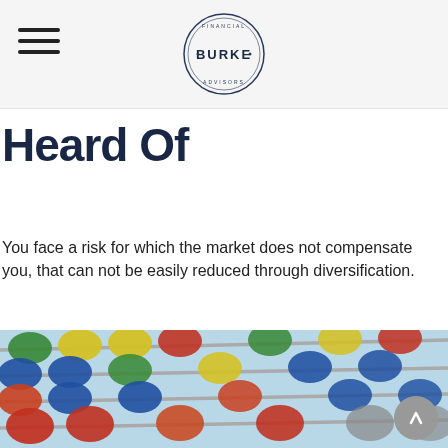Burke Financial Advisors
Heard Of
You face a risk for which the market does not compensate you, that can not be easily reduced through diversification.
[Figure (photo): Close-up photograph of a colorful abacus with red, blue, green, yellow, and orange wooden beads on metal rods against a light blue background.]